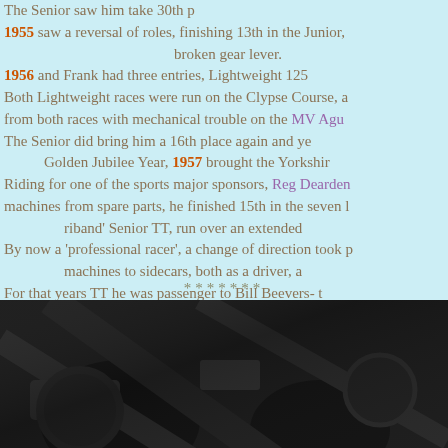The Senior saw him take 30th place. 1955 saw a reversal of roles, finishing 13th in the Junior, broken gear lever. 1956 and Frank had three entries, Lightweight 125 Both Lightweight races were run on the Clypse Course, a from both races with mechanical trouble on the MV Agu The Senior did bring him a 16th place again and ye Golden Jubilee Year, 1957 brought the Yorkshir Riding for one of the sports major sponsors, Reg Dearden machines from spare parts, he finished 15th in the seven l riband' Senior TT, run over an extended By now a 'professional racer', a change of direction took p machines to sidecars, both as a driver, a For that years TT he was passenger to Bill Beevers- t Retiring from racing in early 1959, due mainly to the spirali the Mountain Course in the 1960 Senior, finishing 30th or him especially for the TT, gaining his last
*******
[Figure (photo): Black and white photograph showing what appears to be a motorcycle racing scene or related machinery, partially visible at bottom of page]